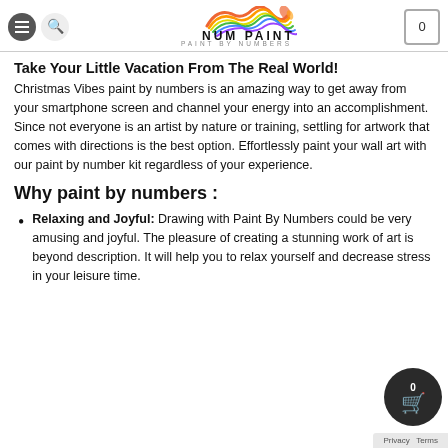[Figure (logo): NUM PAINT logo with colorful wave/splash artwork above the text 'NUM PAINT' and subtitle 'PAINT BY NUMBERS']
Take Your Little Vacation From The Real World!
Christmas Vibes paint by numbers is an amazing way to get away from your smartphone screen and channel your energy into an accomplishment. Since not everyone is an artist by nature or training, settling for artwork that comes with directions is the best option. Effortlessly paint your wall art with our paint by number kit regardless of your experience.
Why paint by numbers :
Relaxing and Joyful: Drawing with Paint By Numbers could be very amusing and joyful. The pleasure of creating a stunning work of art is beyond description. It will help you to relax yourself and decrease stress in your leisure time.